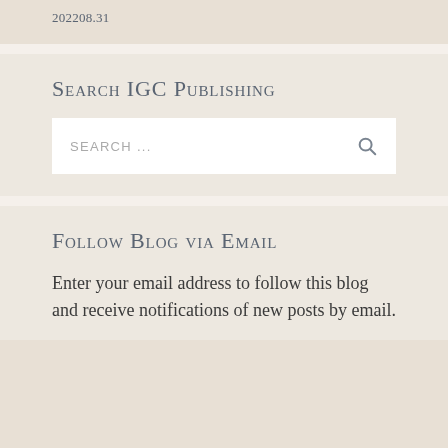202208.31
Search IGC Publishing
SEARCH ...
Follow Blog via Email
Enter your email address to follow this blog and receive notifications of new posts by email.